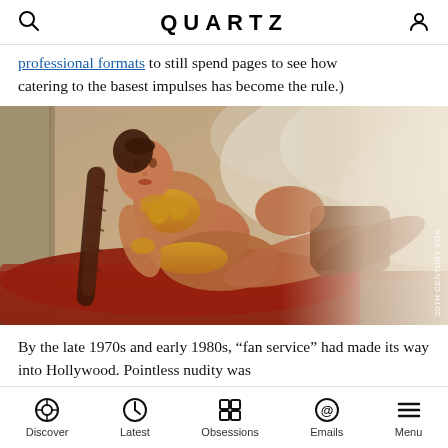QUARTZ
professional formats to still spend pages to see how catering to the basest impulses has become the rule.)
[Figure (photo): A woman in a gold bikini costume reclines against a stone wall with mist/smoke in the background. Photo credit: 20TH CENTURY FOX]
By the late 1970s and early 1980s, “fan service” had made its way into Hollywood. Pointless nudity was
Discover | Latest | Obsessions | Emails | Menu